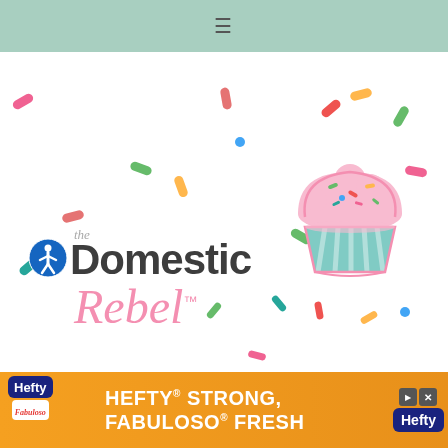Navigation bar with hamburger menu icon
[Figure (logo): The Domestic Rebel logo with cupcake illustration and colorful sprinkles background. Features accessibility icon, bold dark gray 'Domestic' text, and pink cursive 'Rebel' text with TM mark and a pink frosted cupcake with teal stripes.]
[Figure (other): Hefty advertisement banner: HEFTY STRONG, FABULOSO FRESH with orange background, Hefty and Fabuloso logos]